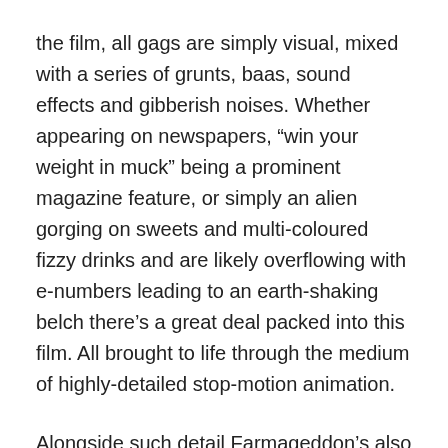the film, all gags are simply visual, mixed with a series of grunts, baas, sound effects and gibberish noises. Whether appearing on newspapers, “win your weight in muck” being a prominent magazine feature, or simply an alien gorging on sweets and multi-coloured fizzy drinks and are likely overflowing with e-numbers leading to an earth-shaking belch there’s a great deal packed into this film. All brought to life through the medium of highly-detailed stop-motion animation.
Alongside such detail Farmageddon’s also features a wide range of humorous sci-fi references. From Close Encounters and E.T. to Doctor Who and The X Files each one never shouts at the audience, nudging them to recognise the reference, they’re simply there because the filmmakers like the sci-fi genre and want to pay homage to it, and show their love in this way.